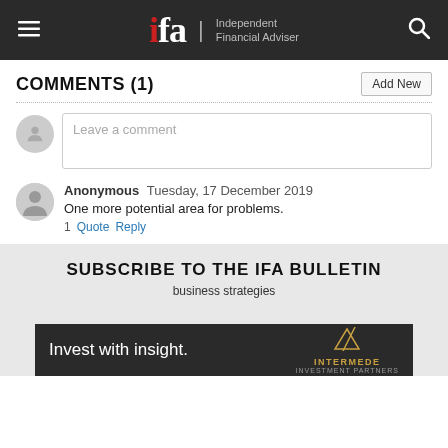ifa Independent Financial Adviser
COMMENTS (1)
Leave a comment
Anonymous  Tuesday, 17 December 2019
One more potential area for problems.
1  Quote  Reply
SUBSCRIBE TO THE IFA BULLETIN
business strategies
[Figure (screenshot): Intermede Investment Partners advertisement overlay: dark background with 'Invest with insight.' text and Intermede logo with gold triangle]